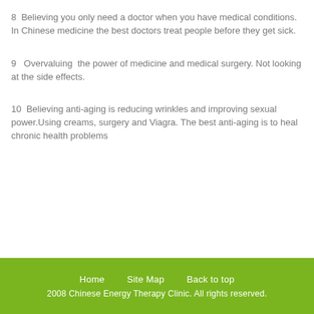8  Believing you only need a doctor when you have medical conditions. In Chinese medicine the best doctors treat people before they get sick.
9  Overvaluing  the power of medicine and medical surgery. Not looking at the side effects.
10  Believing anti-aging is reducing wrinkles and improving sexual power.Using creams, surgery and Viagra. The best anti-aging is to heal chronic health problems
Home   Site Map   Back to top
2008 Chinese Energy Therapy Clinic. All rights reserved.